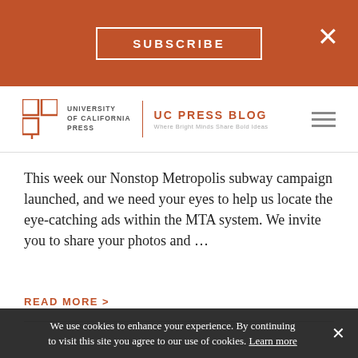SUBSCRIBE
[Figure (logo): University of California Press logo with UC Press Blog title and tagline 'Where Bright Minds Share Bold Ideas']
This week our Nonstop Metropolis subway campaign launched, and we need your eyes to help us locate the eye-catching ads within the MTA system. We invite you to share your photos and ...
READ MORE >
[Figure (illustration): Ink drawing of stylized insect or mechanical bug figure with tools/writing implements radiating outward, on a beige/tan background with orange sidebar bar on the left]
We use cookies to enhance your experience. By continuing to visit this site you agree to our use of cookies. Learn more